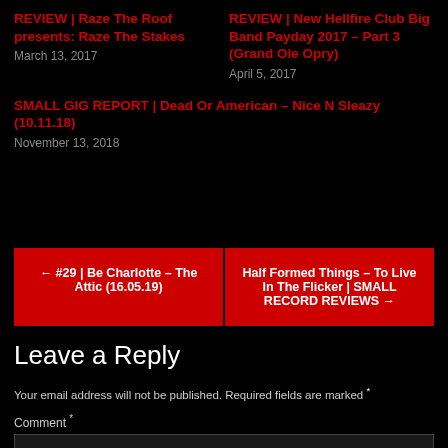REVIEW | Raze The Roof presents: Raze The Stakes
March 13, 2017
REVIEW | New Hellfire Club Big Band Payday 2017 – Part 3 (Grand Ole Opry)
April 5, 2017
SMALL GIG REPORT | Dead Or American – Nice N Sleazy (10.11.18)
November 13, 2018
← #29 | Be Charlotte – The Attic (16.05.19)
Half Formed Things – To Live In The Flicker | SMALL RECORD REVIEWS →
Leave a Reply
Your email address will not be published. Required fields are marked *
Comment *